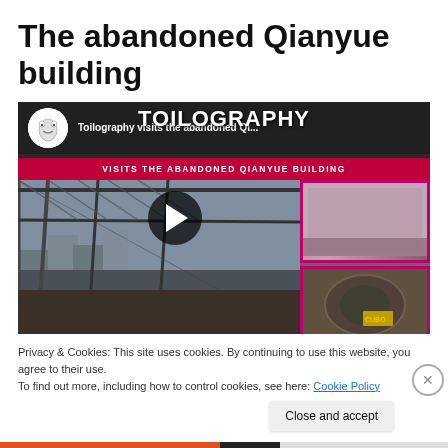The abandoned Qianyue building
[Figure (screenshot): YouTube video thumbnail showing the abandoned Qianyue building, with TOILOGRAPHY channel branding, steel frame rooftop view with city in background, pink-bordered thumbnail images on right side, and a play button overlay. Red banner reads VISITS THE ABANDONED QIANYUE BUILDING.]
Privacy & Cookies: This site uses cookies. By continuing to use this website, you agree to their use.
To find out more, including how to control cookies, see here: Cookie Policy
Close and accept